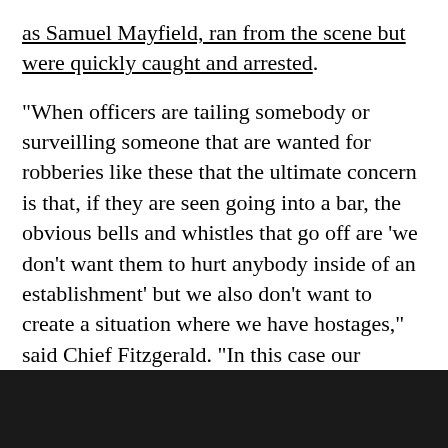as Samuel Mayfield, ran from the scene but were quickly caught and arrested. "When officers are tailing somebody or surveilling someone that are wanted for robberies like these that the ultimate concern is that, if they are seen going into a bar, the obvious bells and whistles that go off are 'we don't want them to hurt anybody inside of an establishment' but we also don't want to create a situation where we have hostages," said Chief Fitzgerald. "In this case our officers, in my opinion, made the best decision possible in allowing them to come out and that's when they approached them, and that's when the gunfire erupted."